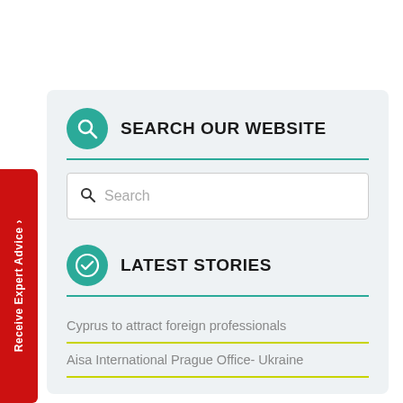SEARCH OUR WEBSITE
Search
LATEST STORIES
Cyprus to attract foreign professionals
Aisa International Prague Office- Ukraine
Receive Expert Advice ›